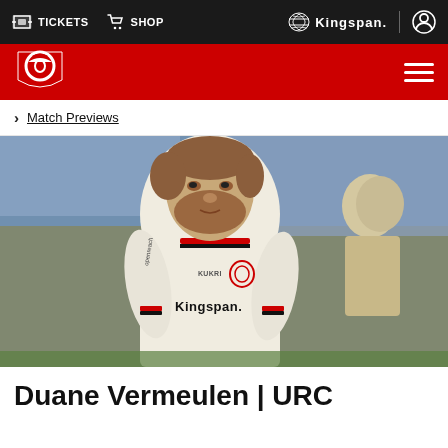TICKETS  SHOP  Kingspan
Ulster Rugby navigation bar with hamburger menu
> Match Previews
[Figure (photo): Duane Vermeulen in Ulster Rugby Kingspan jersey, standing with hands on hips on a rugby pitch with crowd in background. He is wearing a white jersey with red and black trim, with Kingspan sponsor logo and Ulster Rugby badge.]
Duane Vermeulen | URC